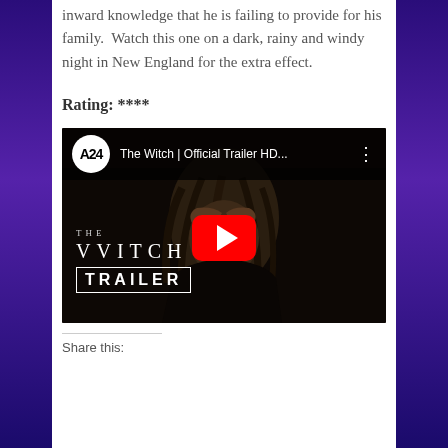inward knowledge that he is failing to provide for his family.  Watch this one on a dark, rainy and windy night in New England for the extra effect.
Rating: ****
[Figure (screenshot): Embedded YouTube video thumbnail for 'The Witch | Official Trailer HD...' by A24. Shows dark horror film image with person covering face. Red YouTube play button in center. Text overlay: THE VVITCH TRAILER.]
Share this: